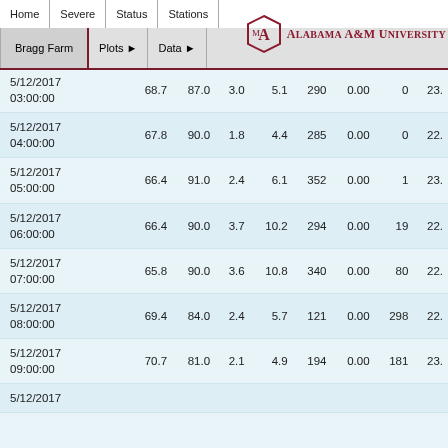Home | Severe | Status | Stations
[Figure (logo): Alabama A&M University logo with interlocking AM monogram]
Bragg Farm | Plots ▶ | Data ▶
| Datetime | Col1 | Col2 | Col3 | Col4 | Col5 | Col6 | Col7 | Col8 |
| --- | --- | --- | --- | --- | --- | --- | --- | --- |
| 5/12/2017 03:00:00 | 68.7 | 87.0 | 3.0 | 5.1 | 290 | 0.00 | 0 | 23. |
| 5/12/2017 04:00:00 | 67.8 | 90.0 | 1.8 | 4.4 | 285 | 0.00 | 0 | 22. |
| 5/12/2017 05:00:00 | 66.4 | 91.0 | 2.4 | 6.1 | 352 | 0.00 | 1 | 23. |
| 5/12/2017 06:00:00 | 66.4 | 90.0 | 3.7 | 10.2 | 294 | 0.00 | 19 | 22. |
| 5/12/2017 07:00:00 | 65.8 | 90.0 | 3.6 | 10.8 | 340 | 0.00 | 80 | 22. |
| 5/12/2017 08:00:00 | 69.4 | 84.0 | 2.4 | 5.7 | 121 | 0.00 | 298 | 22. |
| 5/12/2017 09:00:00 | 70.7 | 81.0 | 2.1 | 4.9 | 194 | 0.00 | 181 | 23. |
| 5/12/2017 |  |  |  |  |  |  |  |  |